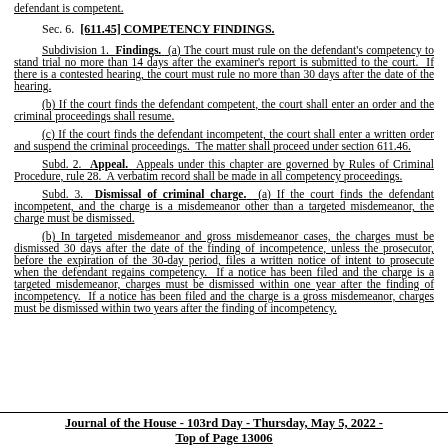defendant is competent.
Sec. 6. [611.45] COMPETENCY FINDINGS.
Subdivision 1. Findings. (a) The court must rule on the defendant's competency to stand trial no more than 14 days after the examiner's report is submitted to the court. If there is a contested hearing, the court must rule no more than 30 days after the date of the hearing.
(b) If the court finds the defendant competent, the court shall enter an order and the criminal proceedings shall resume.
(c) If the court finds the defendant incompetent, the court shall enter a written order and suspend the criminal proceedings. The matter shall proceed under section 611.46.
Subd. 2. Appeal. Appeals under this chapter are governed by Rules of Criminal Procedure, rule 28. A verbatim record shall be made in all competency proceedings.
Subd. 3. Dismissal of criminal charge. (a) If the court finds the defendant incompetent, and the charge is a misdemeanor other than a targeted misdemeanor, the charge must be dismissed.
(b) In targeted misdemeanor and gross misdemeanor cases, the charges must be dismissed 30 days after the date of the finding of incompetence, unless the prosecutor, before the expiration of the 30-day period, files a written notice of intent to prosecute when the defendant regains competency. If a notice has been filed and the charge is a targeted misdemeanor, charges must be dismissed within one year after the finding of incompetency. If a notice has been filed and the charge is a gross misdemeanor, charges must be dismissed within two years after the finding of incompetency.
Journal of the House - 103rd Day - Thursday, May 5, 2022 - Top of Page 13006